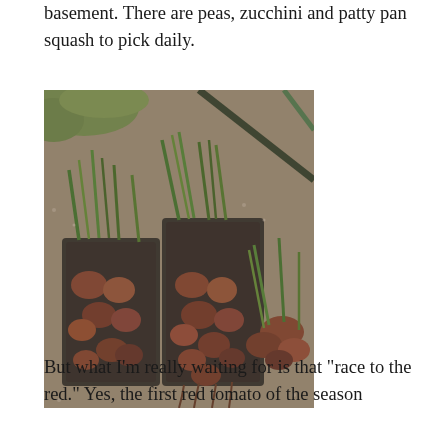basement. There are peas, zucchini and patty pan squash to pick daily.
[Figure (photo): Photograph of harvested onion or shallot bulbs with green tops still attached, arranged in black trays on a gravel surface, with green grass visible in the background.]
But what I’m really waiting for is that “race to the red.” Yes, the first red tomato of the season